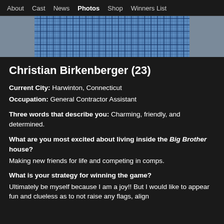About  Cast  News  Photos  Shop  Winners List
[Figure (photo): Partial photo of Christian Birkenberger wearing a blue plaid shirt, cropped to show torso/shoulders]
Christian Birkenberger (23)
Current City: Harwinton, Connecticut
Occupation: General Contractor Assistant
Three words that describe you: Charming, friendly, and determined.
What are you most excited about living inside the Big Brother house?
Making new friends for life and competing in comps.
What is your strategy for winning the game?
Ultimately be myself because I am a joy!! But I would like to appear fun and clueless as to not raise any flags, align myself with someone and...